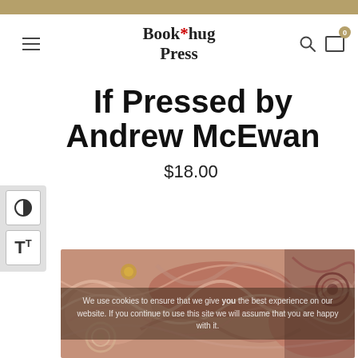Book*hug Press
If Pressed by Andrew McEwan
$18.00
[Figure (photo): Book cover artwork: intricate colorful quilled paper art with swirling patterns in browns, pinks, reds and creams]
We use cookies to ensure that we give you the best experience on our website. If you continue to use this site we will assume that you are happy with it.